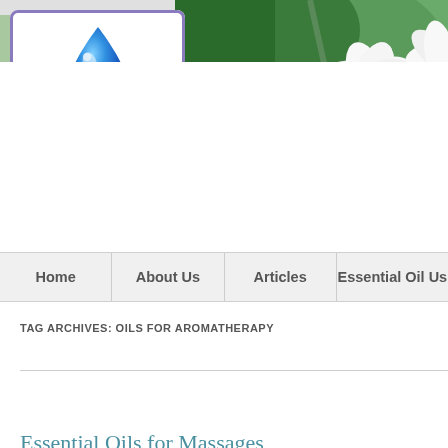[Figure (logo): EOX Essential Oils logo with blue water droplet above bold blue 'EOX' text in white rounded-rectangle box with purple border, set against floral banner background with white jasmine flower and green leaves. Blue banner strip reads 'Wholesale-Direct M...']
Home | About Us | Articles | Essential Oil Us...
TAG ARCHIVES: OILS FOR AROMATHERAPY
Essential Oils for Massages